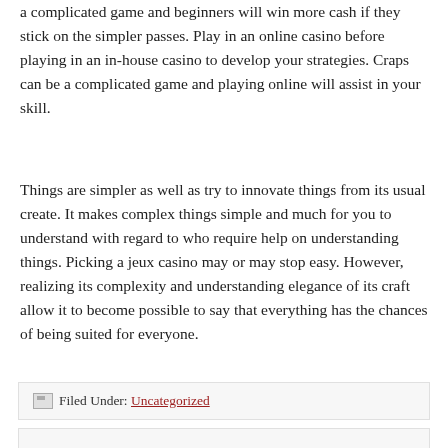a complicated game and beginners will win more cash if they stick on the simpler passes. Play in an online casino before playing in an in-house casino to develop your strategies. Craps can be a complicated game and playing online will assist in your skill.
Things are simpler as well as try to innovate things from its usual create. It makes complex things simple and much for you to understand with regard to who require help on understanding things. Picking a jeux casino may or may stop easy. However, realizing its complexity and understanding elegance of its craft allow it to become possible to say that everything has the chances of being suited for everyone.
Filed Under: Uncategorized